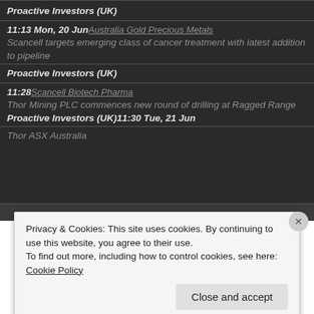Proactive Investors (UK)
11:13 Mon, 20 Jun Australia Gold Precious Metals
Scancell targets emerging class of cancer treatment with latest addition to pipeline
Proactive Investors (UK)
11:28 Scancell Biotech Pharma
Thor Mining PLC commences new round of drilling at Ragged Range Proactive Investors (UK)11:30 Tue, 21 Jun
Thor ASX Australia
Privacy & Cookies: This site uses cookies. By continuing to use this website, you agree to their use.
To find out more, including how to control cookies, see here: Cookie Policy
Close and accept